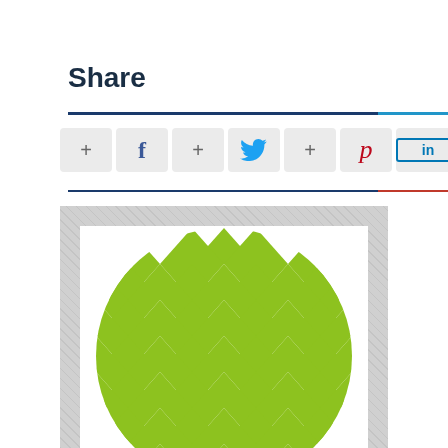Share
[Figure (infographic): Social media sharing buttons: Google+, Facebook, Twitter, Pinterest, LinkedIn]
[Figure (illustration): Green geometric globe/sphere made of triangular and diamond shapes arranged in a circular pattern]